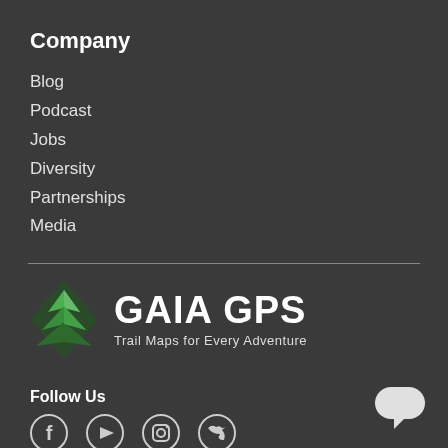Company
Blog
Podcast
Jobs
Diversity
Partnerships
Media
[Figure (logo): Gaia GPS diamond-shaped green layered mountain logo with text GAIA GPS and tagline Trail Maps for Every Adventure]
Follow Us
[Figure (illustration): Social media icons: Facebook, YouTube, Instagram, Twitter]